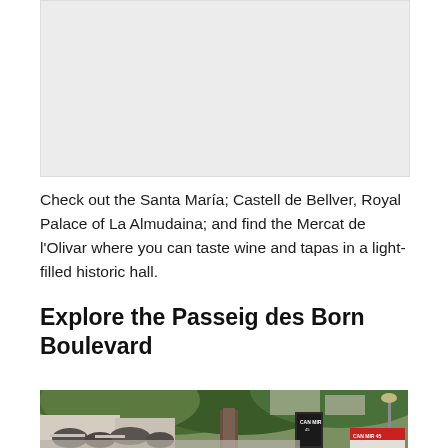[Figure (photo): Partial view of a building or outdoor scene, top portion of page (placeholder/cut-off image)]
Check out the Santa María; Castell de Bellver, Royal Palace of La Almudaina; and find the Mercat de l'Olivar where you can taste wine and tapas in a light-filled historic hall.
Explore the Passeig des Born Boulevard
[Figure (photo): Outdoor cafe scene on Passeig des Born Boulevard. People seated at tables under trees. A chalkboard menu sign reads 'CAN MIR 45'. Another sign in foreground reads 'CAN MIR 45' with menu items. Street lamp visible on right side.]